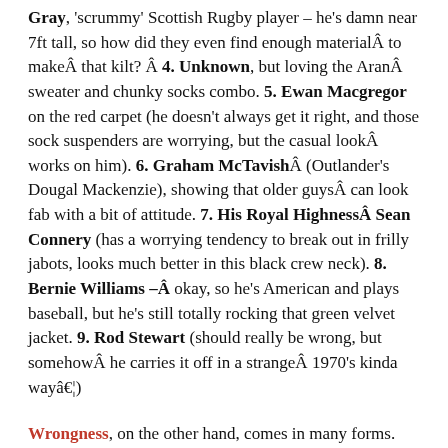Gray, 'scrummy' Scottish Rugby player – he's damn near 7ft tall, so how did they even find enough materialÂ to makeÂ that kilt? Â 4. Unknown, but loving the AranÂ sweater and chunky socks combo. 5. Ewan Macgregor on the red carpet (he doesn't always get it right, and those sock suspenders are worrying, but the casual lookÂ works on him). 6. Graham McTavishÂ (Outlander's Dougal Mackenzie), showing that older guysÂ can look fab with a bit of attitude. 7. His Royal HighnessÂ Sean Connery (has a worrying tendency to break out in frilly jabots, looks much better in this black crew neck). 8. Bernie Williams –Â okay, so he's American and plays baseball, but he's still totally rocking that green velvet jacket. 9. Rod Stewart (should really be wrong, but somehowÂ he carries it off in a strangeÂ 1970's kinda wayâ€¦)
Wrongness, on the other hand, comes in many forms. Once you stray too far from the basic template, you are absolutely heading for trouble...